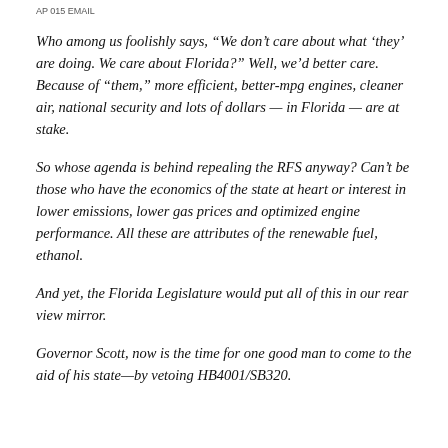AP 015 EMAIL
Who among us foolishly says, “We don’t care about what ‘they’ are doing. We care about Florida?” Well, we’d better care. Because of “them,” more efficient, better-mpg engines, cleaner air, national security and lots of dollars — in Florida — are at stake.
So whose agenda is behind repealing the RFS anyway? Can’t be those who have the economics of the state at heart or interest in lower emissions, lower gas prices and optimized engine performance. All these are attributes of the renewable fuel, ethanol.
And yet, the Florida Legislature would put all of this in our rear view mirror.
Governor Scott, now is the time for one good man to come to the aid of his state—by vetoing HB4001/SB320.